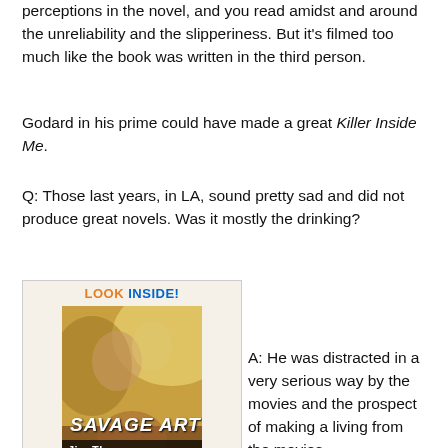perceptions in the novel, and you read amidst and around the unreliability and the slipperiness. But it's filmed too much like the book was written in the third person.
Godard in his prime could have made a great Killer Inside Me.
Q: Those last years, in LA, sound pretty sad and did not produce great novels. Was it mostly the drinking?
[Figure (photo): Book cover image with 'LOOK INSIDE!' banner at top. Shows book titled 'SAVAGE ART' by Jim Thompson with cover art of a woman and man.]
A: He was distracted in a very serious way by the movies and the prospect of making a living from the movies.